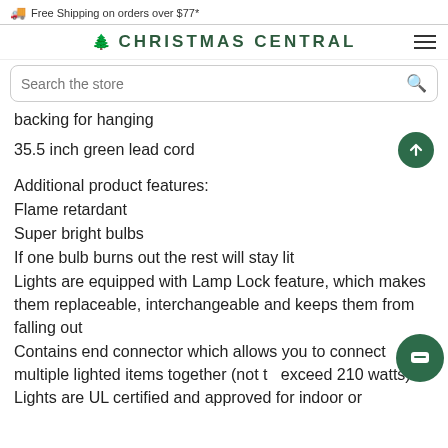Free Shipping on orders over $77*
[Figure (logo): Christmas Central logo with tree icon and hamburger menu]
[Figure (screenshot): Search bar with 'Search the store' placeholder and search icon]
backing for hanging
35.5 inch green lead cord
Additional product features:
Flame retardant
Super bright bulbs
If one bulb burns out the rest will stay lit
Lights are equipped with Lamp Lock feature, which makes them replaceable, interchangeable and keeps them from falling out
Contains end connector which allows you to connect multiple lighted items together (not to exceed 210 watts)
Lights are UL certified and approved for indoor or